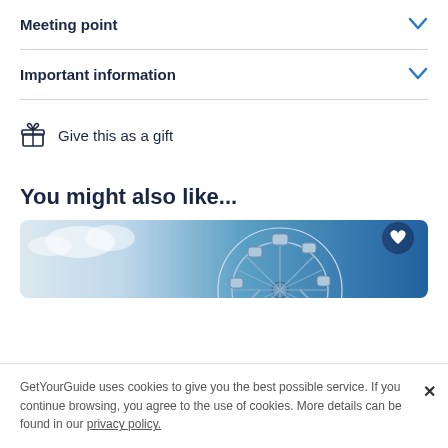Meeting point
Important information
Give this as a gift
You might also like...
[Figure (photo): Photo of the London Eye Ferris wheel against a blue sky, with a heart/favorite button in the top right corner.]
GetYourGuide uses cookies to give you the best possible service. If you continue browsing, you agree to the use of cookies. More details can be found in our privacy policy.